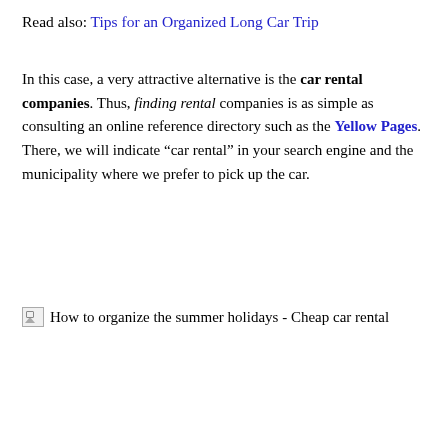Read also: Tips for an Organized Long Car Trip
In this case, a very attractive alternative is the car rental companies. Thus, finding rental companies is as simple as consulting an online reference directory such as the Yellow Pages. There, we will indicate “car rental” in your search engine and the municipality where we prefer to pick up the car.
[Figure (other): Broken image placeholder with caption: How to organize the summer holidays - Cheap car rental]